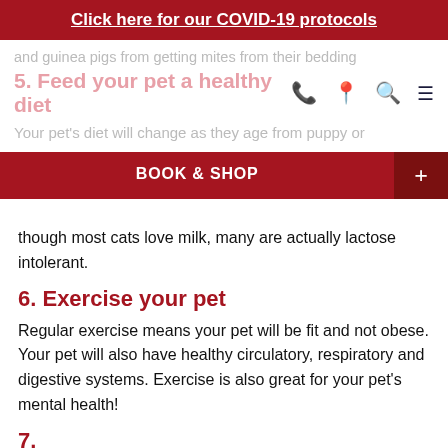Click here for our COVID-19 protocols
and guinea pigs from getting mites from their bedding
5. Feed your pet a healthy diet
Your pet's diet will change as they age from puppy or
BOOK & SHOP
though most cats love milk, many are actually lactose intolerant.
6. Exercise your pet
Regular exercise means your pet will be fit and not obese. Your pet will also have healthy circulatory, respiratory and digestive systems. Exercise is also great for your pet's mental health!